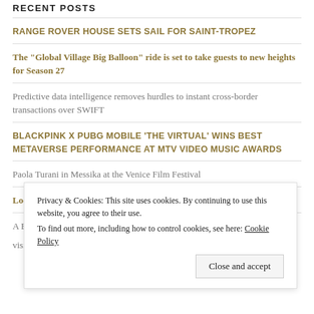RECENT POSTS
RANGE ROVER HOUSE SETS SAIL FOR SAINT-TROPEZ
The "Global Village Big Balloon" ride is set to take guests to new heights for Season 27
Predictive data intelligence removes hurdles to instant cross-border transactions over SWIFT
BLACKPINK X PUBG MOBILE 'THE VIRTUAL' WINS BEST METAVERSE PERFORMANCE AT MTV VIDEO MUSIC AWARDS
Paola Turani in Messika at the Venice Film Festival
Lookout Appoints Deborah Wolf as Chief Marketing Officer
A Big Screen in Your Pocket— New Lenovo Glasses T1 Wearable Display...
vision of 20 Emirati artisans....
Privacy & Cookies: This site uses cookies. By continuing to use this website, you agree to their use. To find out more, including how to control cookies, see here: Cookie Policy